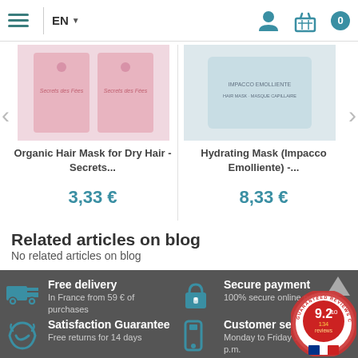EN | navigation header with hamburger menu, user icon, basket icon, cart count 0
[Figure (photo): Product image: Organic Hair Mask for Dry Hair - Secrets des Fées, pink packaging]
Organic Hair Mask for Dry Hair - Secrets...
3,33 €
[Figure (photo): Product image: Hydrating Mask (Impacco Emolliente), white/blue packaging]
Hydrating Mask (Impacco Emolliente) -...
8,33 €
Related articles on blog
No related articles on blog
Free delivery
In France from 59 € of purchases
Secure payment
100% secure online payment
Satisfaction Guarantee
Free returns for 14 days
Customer service
Monday to Friday 10 a... to 5 p.m.